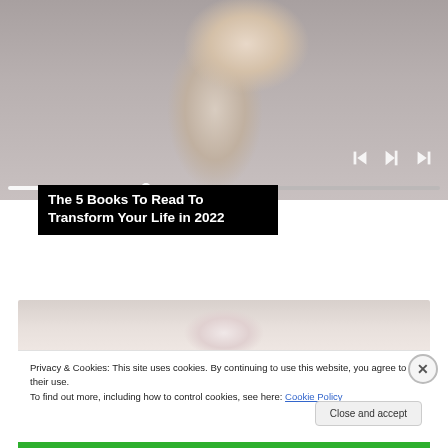[Figure (photo): Screenshot of a website showing a video player with a photo of a young woman with red lipstick and braided hair against a grey background, with media playback controls visible]
The 5 Books To Read To Transform Your Life in 2022
[Figure (photo): Partial image of what appears to be a white swan or bird, cropped at top]
Privacy & Cookies: This site uses cookies. By continuing to use this website, you agree to their use.
To find out more, including how to control cookies, see here: Cookie Policy
Close and accept